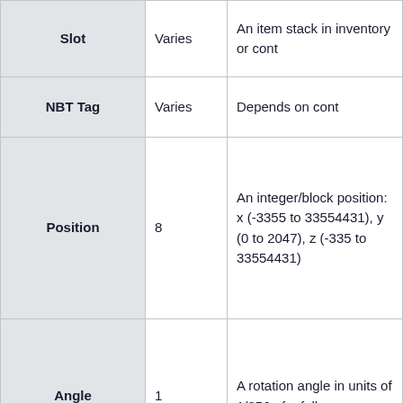| Name | Bytes | Description |
| --- | --- | --- |
| Slot | Varies | An item stack in inventory or cont… |
| NBT Tag | Varies | Depends on cont… |
| Position | 8 | An integer/block position: x (-3355 to 33554431), y (0 to 2047), z (-335… to 33554431) |
| Angle | 1 | A rotation angle in units of 1/256 of a full r… |
| UUID | 16 | A UUID… |